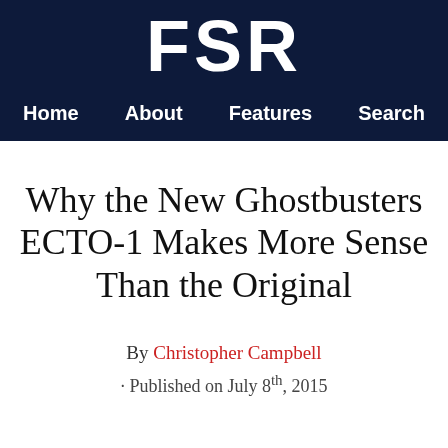FSR
Home  About  Features  Search
Why the New Ghostbusters ECTO-1 Makes More Sense Than the Original
By Christopher Campbell
· Published on July 8th, 2015